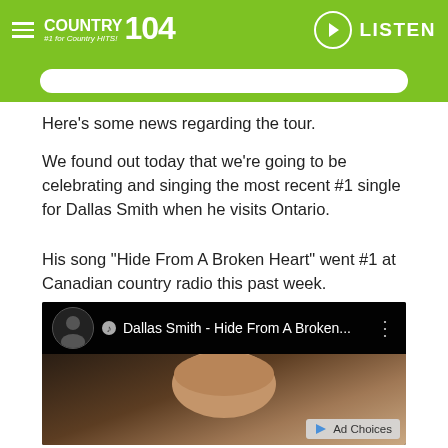COUNTRY 104 #1 for Country HITS! LISTEN
Here's some news regarding the tour.
We found out today that we're going to be celebrating and singing the most recent #1 single for Dallas Smith when he visits Ontario.
His song “Hide From A Broken Heart” went #1 at Canadian country radio this past week.
[Figure (screenshot): YouTube video thumbnail showing Dallas Smith - Hide From A Broken... with a face visible and Ad Choices label in bottom right]